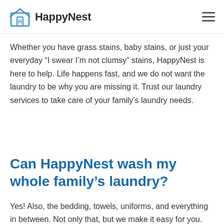HappyNest
Whether you have grass stains, baby stains, or just your everyday “I swear I’m not clumsy” stains, HappyNest is here to help. Life happens fast, and we do not want the laundry to be why you are missing it. Trust our laundry services to take care of your family’s laundry needs.
Can HappyNest wash my whole family’s laundry?
Yes! Also, the bedding, towels, uniforms, and everything in between. Not only that, but we make it easy for you. Start with our easy signup. Seriously, it only takes you about three